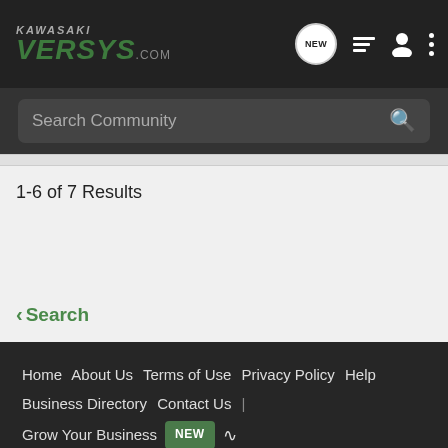KAWASAKI VERSYS.com
Search Community
1-6 of 7 Results
< Search
Home  About Us  Terms of Use  Privacy Policy  Help  Business Directory  Contact Us  |  Grow Your Business  NEW  RSS
VerticalScope Inc., 111 Peter Street, Suite 600, Toronto, Ontario, M5V 2H1, Canada
The Fora platform includes forum software by XenForo